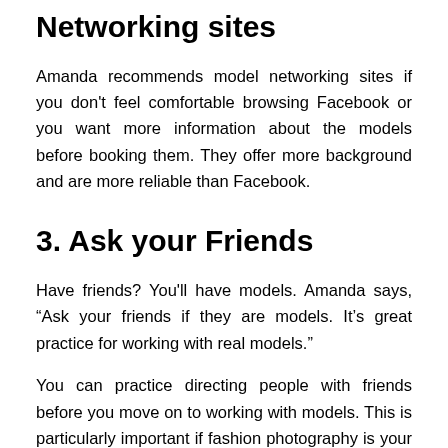Networking sites
Amanda recommends model networking sites if you don't feel comfortable browsing Facebook or you want more information about the models before booking them. They offer more background and are more reliable than Facebook.
3. Ask your Friends
Have friends? You'll have models. Amanda says, “Ask your friends if they are models. It’s great practice for working with real models.”
You can practice directing people with friends before you move on to working with models. This is particularly important if fashion photography is your main job. Amanda warns that even if you get lucky and an agency says you can work with